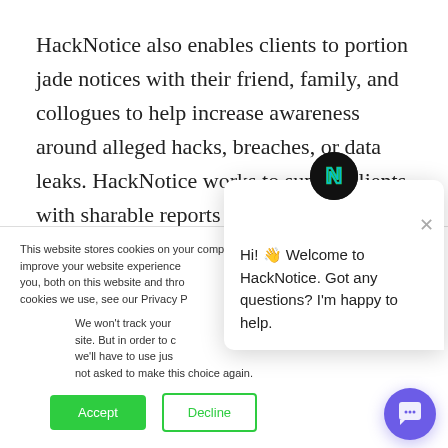HackNotice also enables clients to portion jade notices with their friend, family, and collogues to help increase awareness around alleged hacks, breaches, or data leaks. HackNotice works to supply clients with sharable reports to help increase the certificate of our clients personal network. The certificate of the people that our clients interact with directly impacts the rase
This website stores cookies on your computer. These are used to improve your website experience you, both on this website and through cookies we use, see our Privacy P
We won't track your site. But in order to c we'll have to use jus not asked to make this choice again.
Hi! 👋 Welcome to HackNotice. Got any questions? I'm happy to help.